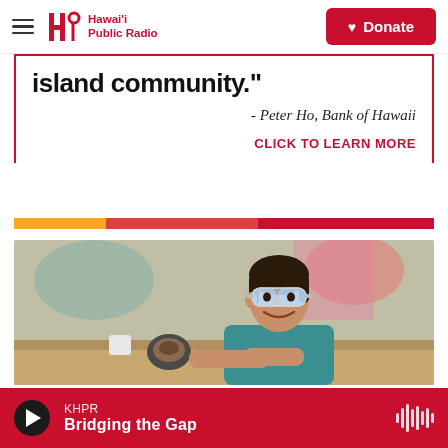Hawai'i Public Radio | Donate
island community.”
- Peter Ho, Bank of Hawaii
CLICK TO LEARN MORE
[Figure (photo): Young girl wearing safety goggles and a teal t-shirt smiling at a workbench with welding/workshop equipment, in a workshop setting with blurred background]
KHPR
Bridging the Gap